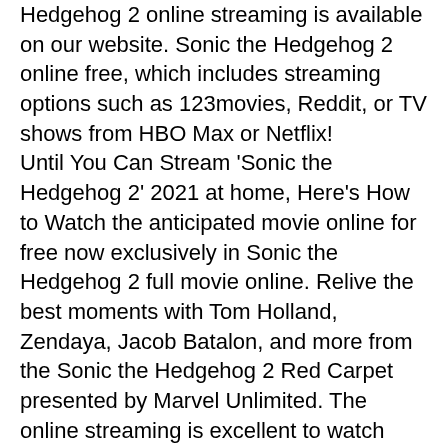Hedgehog 2 online streaming is available on our website. Sonic the Hedgehog 2 online free, which includes streaming options such as 123movies, Reddit, or TV shows from HBO Max or Netflix! Until You Can Stream 'Sonic the Hedgehog 2' 2021 at home, Here's How to Watch the anticipated movie online for free now exclusively in Sonic the Hedgehog 2 full movie online. Relive the best moments with Tom Holland, Zendaya, Jacob Batalon, and more from the Sonic the Hedgehog 2 Red Carpet presented by Marvel Unlimited. The online streaming is excellent to watch movies free online. It'll be the final release in what has been a jam-packed year for MCU films, with Black Widow, Shang-Chi, and Eternals all releasing before it. It'll be the last Marvel movie for a while, too, with Doctor